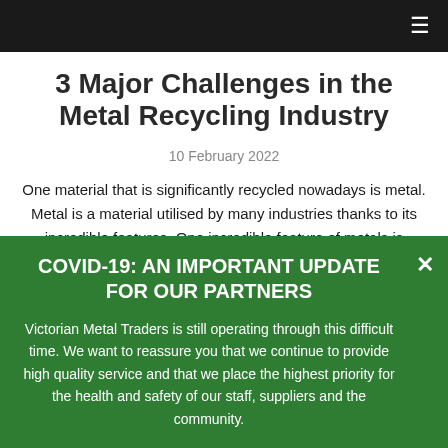≡
3 Major Challenges in the Metal Recycling Industry
10 February 2022
One material that is significantly recycled nowadays is metal. Metal is a material utilised by many industries thanks to its incredible features. One incredible feature of metals is durability. Different types of metals are durable as they can easily resist weather elements. Their durability can then be enhanced with special coating, making
COVID-19: AN IMPORTANT UPDATE FOR OUR PARTNERS
Victorian Metal Traders is still operating through this difficult time. We want to reassure you that we continue to provide high quality service and that we place the highest priority for the health and safety of our staff, suppliers and the community.